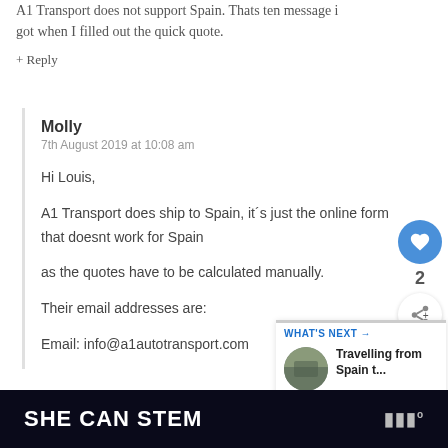A1 Transport does not support Spain. Thats ten message i got when I filled out the quick quote.
+ Reply
Molly
7th August 2019 at 10:08 am
Hi Louis,

A1 Transport does ship to Spain, it´s just the online form that doesnt work for Spain as the quotes have to be calculated manually.

Their email addresses are:

Email: info@a1autotransport.com
SHE CAN STEM